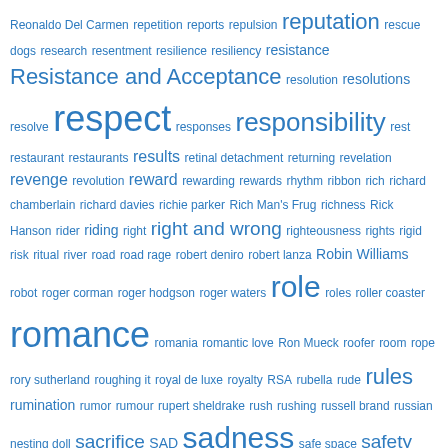[Figure (other): A tag cloud / word cloud featuring terms starting with 'r' and 's', rendered in various font sizes in blue color. Larger words indicate higher frequency/importance. Key large terms include: respect, responsibility, romance, sadness, rules, Resistance and Acceptance, right and wrong, role, sacrifice, safety.]